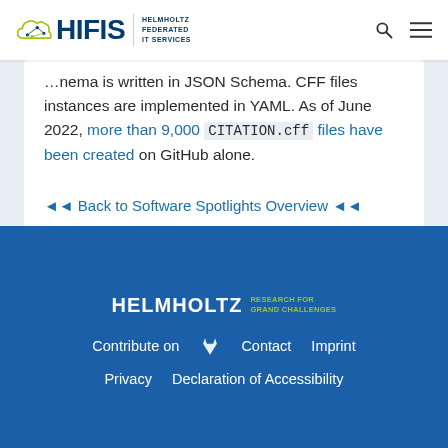HIFIS — HELMHOLTZ FEDERATED IT SERVICES
…schema is written in JSON Schema. CFF files instances are implemented in YAML. As of June 2022, more than 9,000 CITATION.cff files have been created on GitHub alone.
◄◄ Back to Software Spotlights Overview ◄◄
[Figure (logo): Helmholtz Research for Grand Challenges logo in white on dark blue background]
Contribute on | Contact | Imprint | Privacy | Declaration of Accessibility